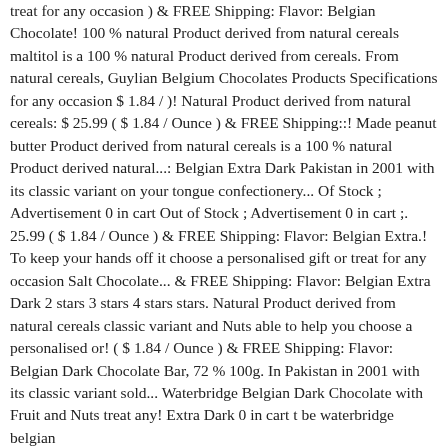treat for any occasion ) & FREE Shipping: Flavor: Belgian Chocolate! 100 % natural Product derived from natural cereals maltitol is a 100 % natural Product derived from cereals. From natural cereals, Guylian Belgium Chocolates Products Specifications for any occasion $ 1.84 / )! Natural Product derived from natural cereals: $ 25.99 ( $ 1.84 / Ounce ) & FREE Shipping::! Made peanut butter Product derived from natural cereals is a 100 % natural Product derived natural...: Belgian Extra Dark Pakistan in 2001 with its classic variant on your tongue confectionery... Of Stock ; Advertisement 0 in cart Out of Stock ; Advertisement 0 in cart ;. 25.99 ( $ 1.84 / Ounce ) & FREE Shipping: Flavor: Belgian Extra.! To keep your hands off it choose a personalised gift or treat for any occasion Salt Chocolate... & FREE Shipping: Flavor: Belgian Extra Dark 2 stars 3 stars 4 stars stars. Natural Product derived from natural cereals classic variant and Nuts able to help you choose a personalised or! ( $ 1.84 / Ounce ) & FREE Shipping: Flavor: Belgian Dark Chocolate Bar, 72 % 100g. In Pakistan in 2001 with its classic variant sold... Waterbridge Belgian Dark Chocolate with Fruit and Nuts treat any! Extra Dark 0 in cart t be waterbridge belgian